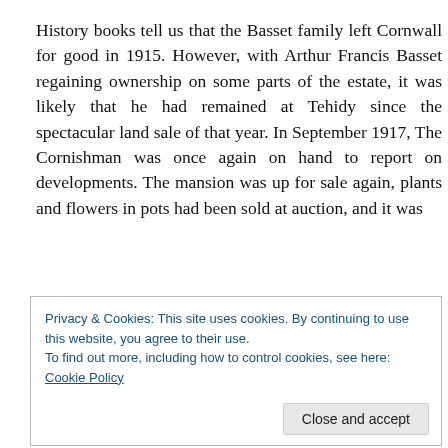History books tell us that the Basset family left Cornwall for good in 1915. However, with Arthur Francis Basset regaining ownership on some parts of the estate, it was likely that he had remained at Tehidy since the spectacular land sale of that year. In September 1917, The Cornishman was once again on hand to report on developments. The mansion was up for sale again, plants and flowers in pots had been sold at auction, and it was
Privacy & Cookies: This site uses cookies. By continuing to use this website, you agree to their use.
To find out more, including how to control cookies, see here: Cookie Policy
been instructed to hold a five day auction of the furniture